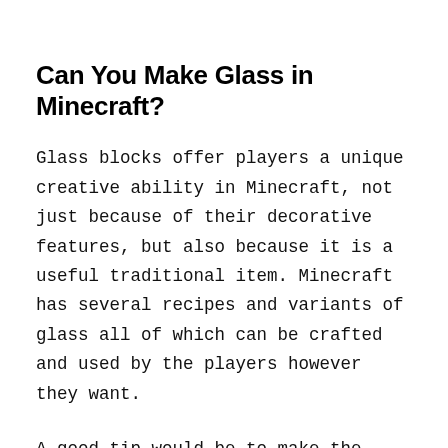Can You Make Glass in Minecraft?
Glass blocks offer players a unique creative ability in Minecraft, not just because of their decorative features, but also because it is a useful traditional item. Minecraft has several recipes and variants of glass all of which can be crafted and used by the players however they want.
A good tip would be to make the glass depending on the nature of your project, for example, glass blocks are good for large projects while glass panes are for small projects, but you can of course use them